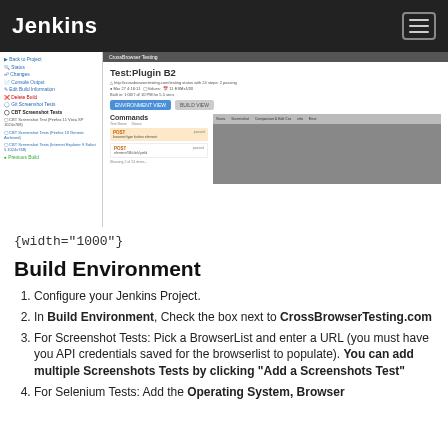Jenkins
[Figure (screenshot): Jenkins build page screenshot showing a sidebar with navigation links (Back to Project, Status, Changes, Console Output, Edit Build Information, Delete Build, Git Screenshot Tests, CBT Screenshot Tests, CBT Screenshot Test (Firefox 11 Vista SP 1024x768), CBT Screenshot Tests (Firefox 10 Generic Archived), CBT Screenshot Tests (Internet Explorer 9 Safari 5 1024x768), Previous Build) and a main panel showing Test:Plugin B2 build with Commands section showing POST requests]
{width="1000"}
Build Environment
Configure your Jenkins Project.
In Build Environment, Check the box next to CrossBrowserTesting.com
For Screenshot Tests: Pick a BrowserList and enter a URL (you must have you API credentials saved for the browserlist to populate). You can add multiple Screenshots Tests by clicking "Add a Screenshots Test"
For Selenium Tests: Add the Operating System, Browser